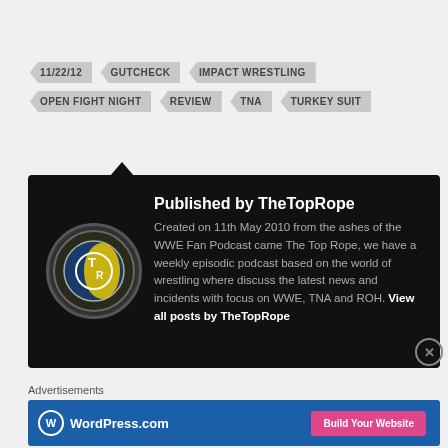11/22/12
GUTCHECK
IMPACT WRESTLING
OPEN FIGHT NIGHT
REVIEW
TNA
TURKEY SUIT
Published by TheTopRope
Created on 11th May 2010 from the ashes of the WWE Fan Podcast came The Top Rope, we have a weekly episodic podcast based on the world of wrestling where discuss the latest news and incidents with focus on WWE, TNA and ROH. View all posts by TheTopRope
Advertisements
[Figure (logo): WordPress.com advertisement banner with Build Your Website button]